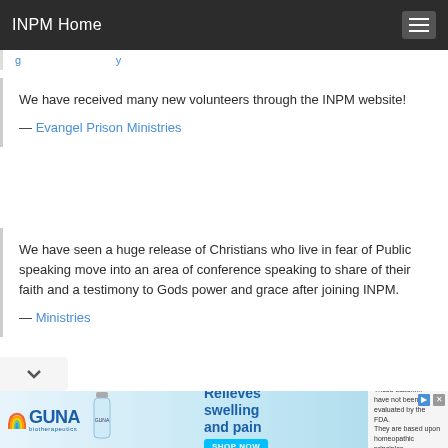INPM Home
We have received many new volunteers through the INPM website!
— Evangel Prison Ministries
We have seen a huge release of Christians who live in fear of Public speaking move into an area of conference speaking to share of their faith and a testimony to Gods power and grace after joining INPM.
— Ministries